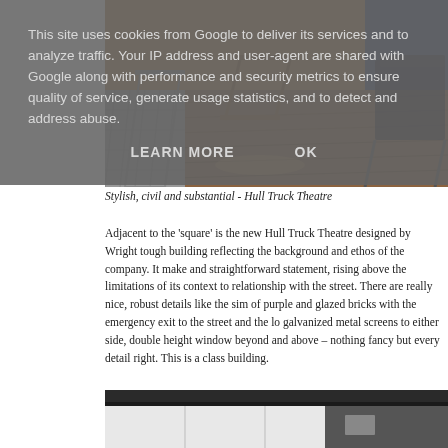This site uses cookies from Google to deliver its services and to analyze traffic. Your IP address and user-agent are shared with Google along with performance and security metrics to ensure quality of service, generate usage statistics, and to detect and address abuse.
LEARN MORE    OK
[Figure (photo): Interior of Hull Truck Theatre showing chairs and wooden floor]
Stylish, civil and substantial - Hull Truck Theatre
Adjacent to the 'square' is the new Hull Truck Theatre designed by Wright tough building reflecting the background and ethos of the company. It make and straightforward statement, rising above the limitations of its context to relationship with the street. There are really nice, robust details like the sim of purple and glazed bricks with the emergency exit to the street and the lo galvanized metal screens to either side, double height window beyond and above – nothing fancy but every detail right. This is a class building.
[Figure (photo): Exterior architectural detail of Hull Truck Theatre building]